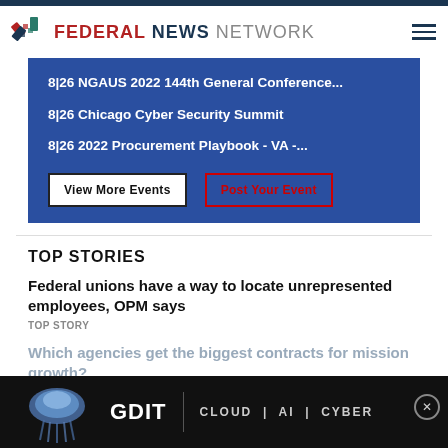Federal News Network
8|26 NGAUS 2022 144th General Conference...
8|26 Chicago Cyber Security Summit
8|26 2022 Procurement Playbook - VA -...
View More Events | Post Your Event
TOP STORIES
Federal unions have a way to locate unrepresented employees, OPM says
TOP STORY
Which agencies get the biggest contracts for mission growth?
UNIONS
[Figure (screenshot): GDIT advertisement banner with jellyfish image and text CLOUD | AI | CYBER]